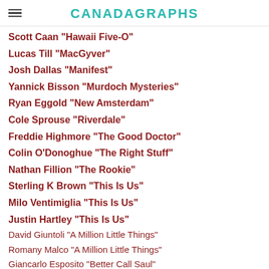CANADAGRAPHS
Scott Caan "Hawaii Five-O"
Lucas Till "MacGyver"
Josh Dallas "Manifest"
Yannick Bisson "Murdoch Mysteries"
Ryan Eggold "New Amsterdam"
Cole Sprouse "Riverdale"
Freddie Highmore "The Good Doctor"
Colin O'Donoghue "The Right Stuff"
Nathan Fillion "The Rookie"
Sterling K Brown "This Is Us"
Milo Ventimiglia "This Is Us"
Justin Hartley "This Is Us"
David Giuntoli "A Million Little Things"
Romany Malco "A Million Little Things"
Giancarlo Esposito "Better Call Saul"